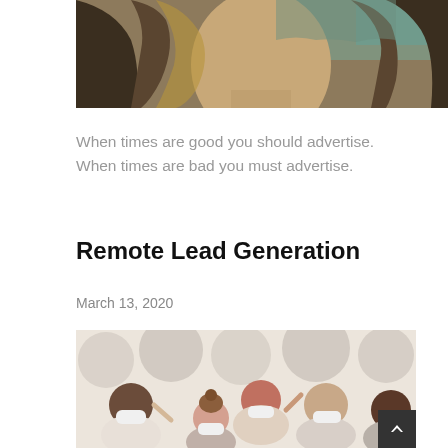[Figure (illustration): Top portion of the Mona Lisa painting, showing the face/neck and golden-brown tones]
When times are good you should advertise. When times are bad you must advertise.
Remote Lead Generation
March 13, 2020
[Figure (illustration): Illustration of a crowd of diverse people wearing face masks, with terracotta, grey, and beige tones]